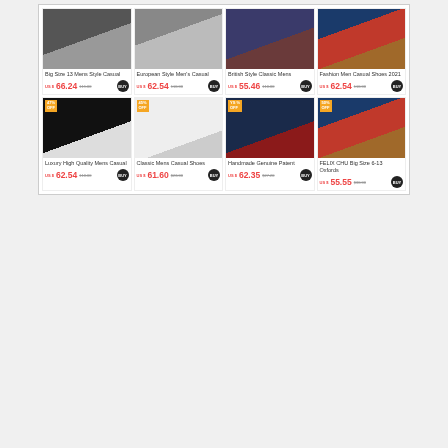[Figure (screenshot): E-commerce product grid showing 8 men's casual shoes in 2 rows of 4, each with product image, title, sale price, original price, and BUY button]
Big Size 13 Mens Style Casual
US $ 66.24  119.00  BUY
European Style Men's Casual
US $ 62.54  110.00  BUY
British Style Classic Mens
US $ 55.46  110.00  BUY
Fashion Men Casual Shoes 2021
US $ 62.54  110.00  BUY
Luxury High Quality Mens Casual
US $ 62.54  118.00  BUY
Classic Mens Casual Shoes
US $ 61.60  $23.00  BUY
Handmade Genuine Patent
US $ 62.35  $27.20  BUY
FELIX CHU Big Size 6-13 Oxfords
US $ 55.55  $30.00  BUY